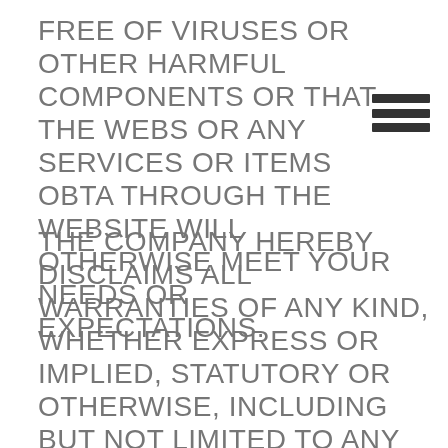FREE OF VIRUSES OR OTHER HARMFUL COMPONENTS OR THAT THE WEBSITE OR ANY SERVICES OR ITEMS OBTAINED THROUGH THE WEBSITE WILL OTHERWISE MEET YOUR NEEDS OR EXPECTATIONS.
THE COMPANY HEREBY DISCLAIMS ALL WARRANTIES OF ANY KIND, WHETHER EXPRESS OR IMPLIED, STATUTORY OR OTHERWISE, INCLUDING BUT NOT LIMITED TO ANY WARRANTIES OF MERCHANTABILITY, NON-INFRINGEMENT AND FITNESS FOR PARTICULAR PURPOSE.